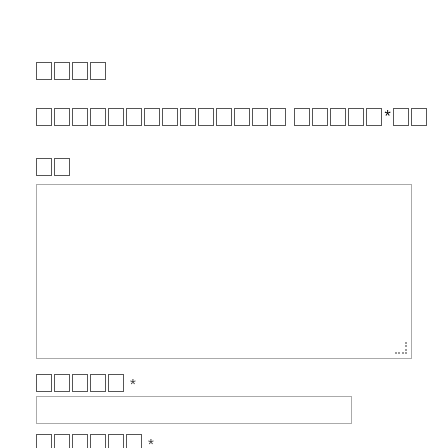□□□□
□□□□□□□□□□□□□□ □□□□□*□□
□□
[Figure (other): Large empty textarea input box with resize handle in bottom right corner]
□□□□□ *
[Figure (other): Single-line text input field]
□□□□□□ *